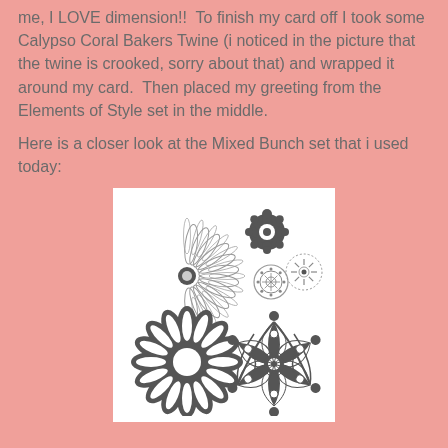me, I LOVE dimension!!  To finish my card off I took some Calypso Coral Bakers Twine (i noticed in the picture that the twine is crooked, sorry about that) and wrapped it around my card.  Then placed my greeting from the Elements of Style set in the middle.

Here is a closer look at the Mixed Bunch set that i used today:
[Figure (illustration): Stamp set product image showing six flower/medallion stamps: a large daisy outline, a dark solid daisy, a small ornate medallion, a circular dotted medallion, a small starburst medallion, and a large ornate snowflake/mandala medallion.]